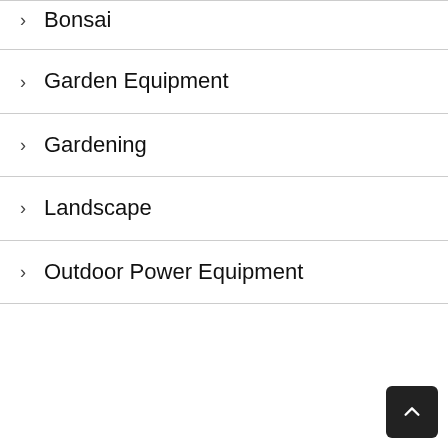Bonsai
Garden Equipment
Gardening
Landscape
Outdoor Power Equipment